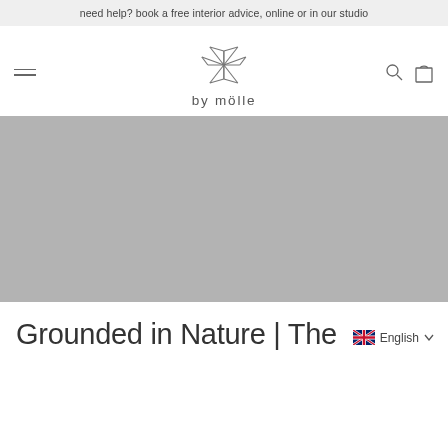need help? book a free interior advice, online or in our studio
[Figure (logo): by mölle logo with geometric pinwheel/diamond icon above the brand name text 'by mölle']
[Figure (photo): Large grey placeholder hero image banner]
Grounded in Nature | The
English